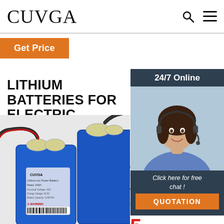CUVGA
Get Price
24/7 Online
LITHIUM BATTERIES FOR ELECTRIC
NEW A-PRODUCT POWER CORE / 99% FI
[Figure (photo): Two blue rectangular lithium battery packs with black wiring and connectors on a light background]
HIGH-CA... LITHIU...
Click here for free chat !
QUOTATION
MEET YOUR DAILY TRAVEL NEEDS
STABLE PERFORMANCE, SAFE AND DURABLE
5